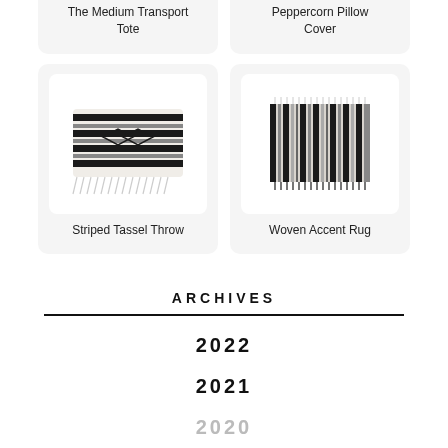The Medium Transport Tote
Peppercorn Pillow Cover
[Figure (photo): Striped Tassel Throw product image - black and white striped textile with tassels]
Striped Tassel Throw
[Figure (photo): Woven Accent Rug product image - striped woven rug with fringe]
Woven Accent Rug
ARCHIVES
2022
2021
2020